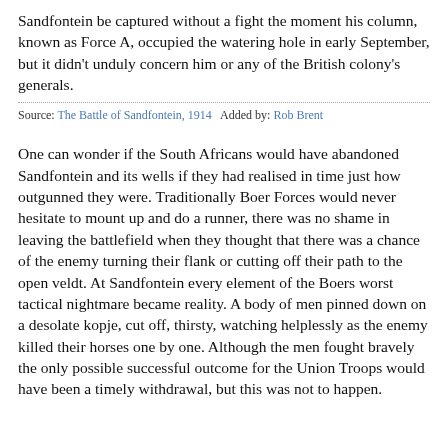Sandfontein be captured without a fight the moment his column, known as Force A, occupied the watering hole in early September, but it didn't unduly concern him or any of the British colony's generals.
Source: The Battle of Sandfontein, 1914   Added by: Rob Brent
One can wonder if the South Africans would have abandoned Sandfontein and its wells if they had realised in time just how outgunned they were. Traditionally Boer Forces would never hesitate to mount up and do a runner, there was no shame in leaving the battlefield when they thought that there was a chance of the enemy turning their flank or cutting off their path to the open veldt. At Sandfontein every element of the Boers worst tactical nightmare became reality. A body of men pinned down on a desolate kopje, cut off, thirsty, watching helplessly as the enemy killed their horses one by one. Although the men fought bravely the only possible successful outcome for the Union Troops would have been a timely withdrawal, but this was not to happen.